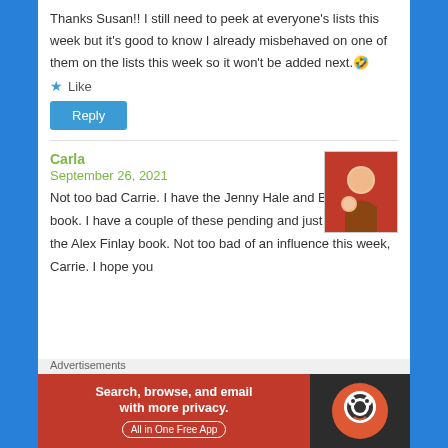Thanks Susan!! I still need to peek at everyone's lists this week but it's good to know I already misbehaved on one of them on the lists this week so it won't be added next.🤣
★ Like
Reply
Carla
September 26, 2021
[Figure (photo): Small square photo of a person with a child, appears to be an adult and child together]
Not too bad Carrie. I have the Jenny Hale and Barbara Ross book. I have a couple of these pending and just requested the Alex Finlay book. Not too bad of an influence this week, Carrie. I hope you
Advertisements
[Figure (screenshot): DuckDuckGo advertisement banner: 'Search, browse, and email with more privacy. All in One Free App' with DuckDuckGo duck logo on dark background]